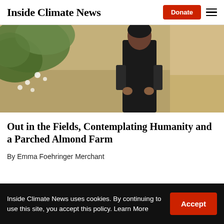Inside Climate News
[Figure (photo): Person standing outdoors near a tree with green leaves, wearing a dark t-shirt, appearing to hold something in their hands. Background shows a dry, sandy landscape.]
Out in the Fields, Contemplating Humanity and a Parched Almond Farm
By Emma Foehringer Merchant
Inside Climate News uses cookies. By continuing to use this site, you accept this policy. Learn More